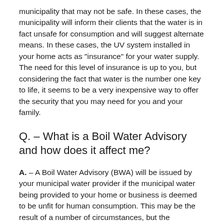municipality that may not be safe. In these cases, the municipality will inform their clients that the water is in fact unsafe for consumption and will suggest alternate means. In these cases, the UV system installed in your home acts as "insurance" for your water supply. The need for this level of insurance is up to you, but considering the fact that water is the number one key to life, it seems to be a very inexpensive way to offer the security that you may need for you and your family.
Q. – What is a Boil Water Advisory and how does it affect me?
A. – A Boil Water Advisory (BWA) will be issued by your municipal water provider if the municipal water being provided to your home or business is deemed to be unfit for human consumption. This may be the result of a number of circumstances, but the municipality is informing their customers that at this point in time, the water is not safe for drinking unless treated by some other method or boiled, essentially killing the water of any...